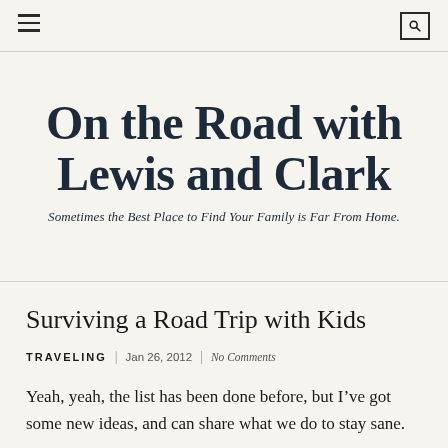≡  [menu icon]  |  [search icon]
On the Road with Lewis and Clark
Sometimes the Best Place to Find Your Family is Far From Home.
Surviving a Road Trip with Kids
TRAVELING | Jan 26, 2012 | No Comments
Yeah, yeah, the list has been done before, but I've got some new ideas, and can share what we do to stay sane.